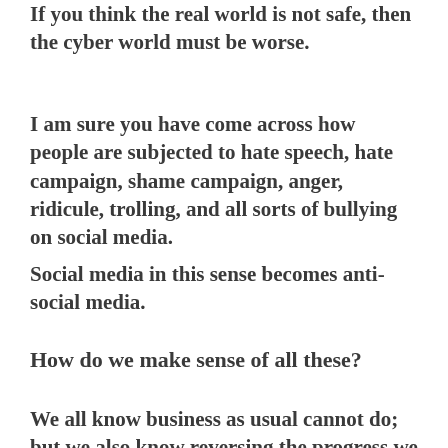If you think the real world is not safe, then the cyber world must be worse.
I am sure you have come across how people are subjected to hate speech, hate campaign, shame campaign, anger, ridicule, trolling, and all sorts of bullying on social media.
Social media in this sense becomes anti-social media.
How do we make sense of all these?
We all know business as usual cannot do; but we also know reversing the progress we have achieved so far is not an option.
Malaysia has just emerged from a historic change of